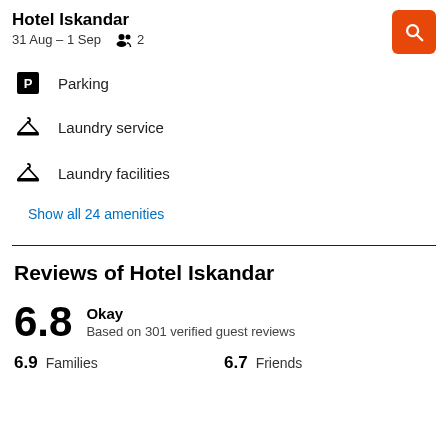Hotel Iskandar
31 Aug – 1 Sep   2
Parking
Laundry service
Laundry facilities
Show all 24 amenities
Reviews of Hotel Iskandar
6.8  Okay
Based on 301 verified guest reviews
6.9  Families     6.7  Friends